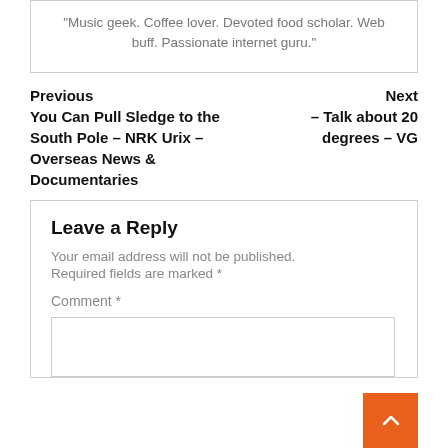"Music geek. Coffee lover. Devoted food scholar. Web buff. Passionate internet guru."
Previous
Next
You Can Pull Sledge to the South Pole – NRK Urix – Overseas News & Documentaries
– Talk about 20 degrees – VG
Leave a Reply
Your email address will not be published.
Required fields are marked *
Comment *